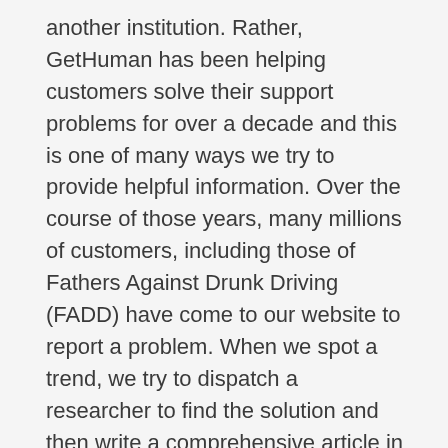another institution. Rather, GetHuman has been helping customers solve their support problems for over a decade and this is one of many ways we try to provide helpful information. Over the course of those years, many millions of customers, including those of Fathers Against Drunk Driving (FADD) have come to our website to report a problem. When we spot a trend, we try to dispatch a researcher to find the solution and then write a comprehensive article in which we explain how we do it.
Fathers Against Drunk Driving (FADD) Reference
How To Call Customer Service...